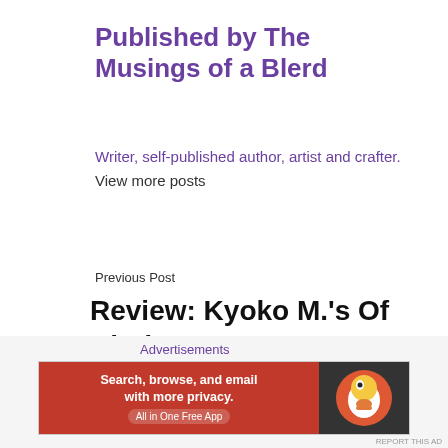Published by The Musings of a Blerd
Writer, self-published author, artist and crafter. View more posts
Previous Post
Review: Kyoko M.'s Of Cinder & Bone
[Figure (other): Close/dismiss button (circled X icon)]
Advertisements
[Figure (other): DuckDuckGo advertisement banner: Search, browse, and email with more privacy. All in One Free App]